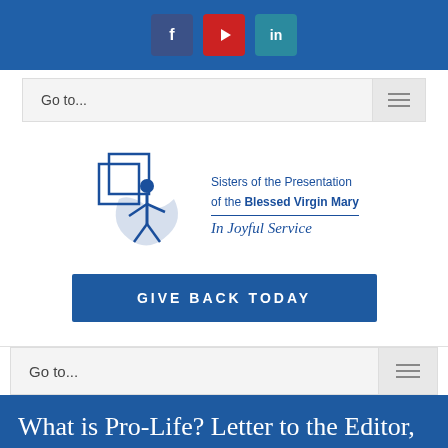[Figure (logo): Social media icons: Facebook (blue), YouTube (red), LinkedIn (teal) on blue bar]
Go to...
[Figure (logo): Sisters of the Presentation of the Blessed Virgin Mary - In Joyful Service logo with figure graphic]
GIVE BACK TODAY
Go to...
What is Pro-Life? Letter to the Editor, by Sister Myra Remily